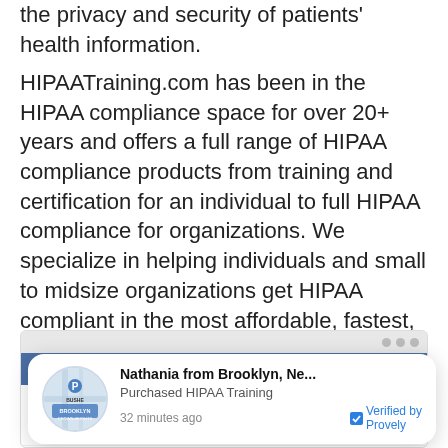the privacy and security of patients' health information.
HIPAATraining.com has been in the HIPAA compliance space for over 20+ years and offers a full range of HIPAA compliance products from training and certification for an individual to full HIPAA compliance for organizations. We specialize in helping individuals and small to midsize organizations get HIPAA compliant in the most affordable, fastest, and easiest way possible.
[Figure (screenshot): Screenshot of a webpage showing 'What is HIPAA?' with a notification popup overlay. The popup reads: 'Nathania from Brooklyn, Ne... Purchased HIPAA Training. 32 minutes ago. Verified by Provely.' The webpage content in the background mentions Health Insurance Portability and Accountability Act. A map thumbnail of Brooklyn Crown Heights is shown in the notification.]